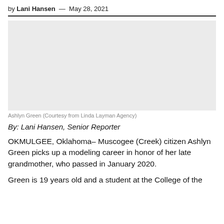by Lani Hansen — May 28, 2021
[Figure (photo): Gray placeholder image for Ashlyn Green photo]
Ashlyn Green (Courtesy from Linda Layman Agency)
By: Lani Hansen, Senior Reporter
OKMULGEE, Oklahoma– Muscogee (Creek) citizen Ashlyn Green picks up a modeling career in honor of her late grandmother, who passed in January 2020.
Green is 19 years old and a student at the College of the